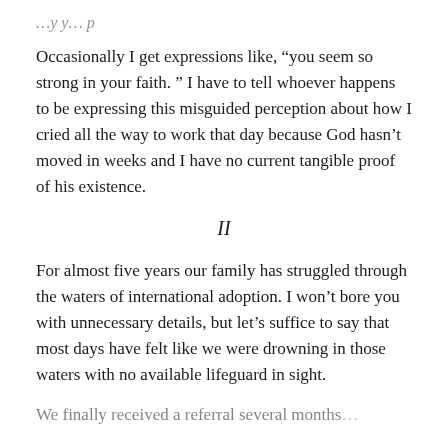…y y… p
Occasionally I get expressions like, “you seem so strong in your faith. ” I have to tell whoever happens to be expressing this misguided perception about how I cried all the way to work that day because God hasn’t  moved in weeks and I have no current tangible proof of his existence.
II
For almost five years our family has struggled through the waters of international adoption. I won’t bore you with unnecessary details, but let’s suffice to say that most days have felt like we were drowning in those waters with no available lifeguard in sight.
We finally received a referral several months…